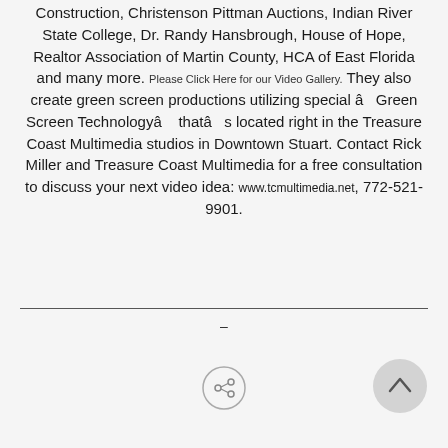Construction, Christenson Pittman Auctions, Indian River State College, Dr. Randy Hansbrough, House of Hope, Realtor Association of Martin County, HCA of East Florida and many more. Please Click Here for our Video Gallery. They also create green screen productions utilizing special â Green Screen Technologyâ thatâ s located right in the Treasure Coast Multimedia studios in Downtown Stuart. Contact Rick Miller and Treasure Coast Multimedia for a free consultation to discuss your next video idea: www.tcmultimedia.net, 772-521-9901.
–